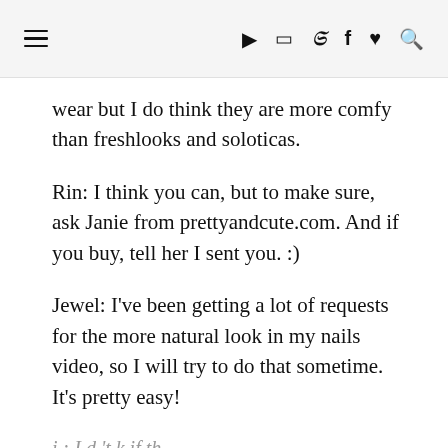≡  ▶  📷  🐦  f  ♥  🔍
wear but I do think they are more comfy than freshlooks and soloticas.
Rin: I think you can, but to make sure, ask Janie from prettyandcute.com. And if you buy, tell her I sent you. :)
Jewel: I've been getting a lot of requests for the more natural look in my nails video, so I will try to do that sometime. It's pretty easy!
i I d 't k if th